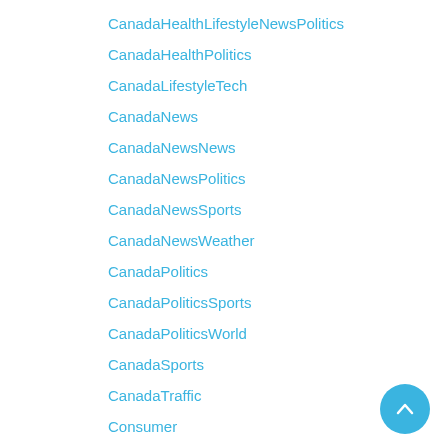CanadaHealthLifestyleNewsPolitics
CanadaHealthPolitics
CanadaLifestyleTech
CanadaNews
CanadaNewsNews
CanadaNewsPolitics
CanadaNewsSports
CanadaNewsWeather
CanadaPolitics
CanadaPoliticsSports
CanadaPoliticsWorld
CanadaSports
CanadaTraffic
Consumer
ConsumerCrime
ConsumerEnvironmentPolitics
ConsumerHealthLifestyle
ConsumerLifestyle
Crime